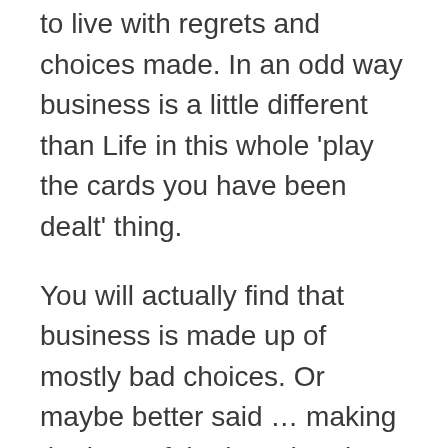to live with regrets and choices made. In an odd way business is a little different than Life in this whole 'play the cards you have been dealt' thing.
You will actually find that business is made up of mostly bad choices. Or maybe better said … making the best of the less than best choices. All you really try and do is to keep your balance between them.
In addition … you will actually find that in business, versus Life, is every hand … even if it is bad … even really bad … still